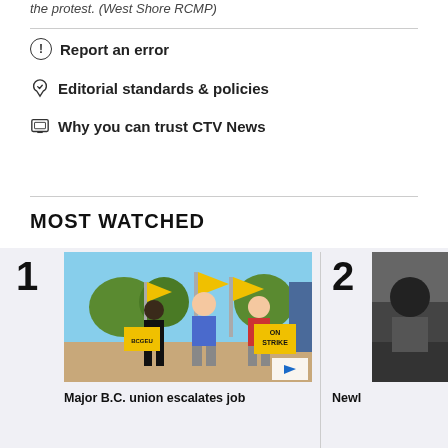the protest. (West Shore RCMP)
Report an error
Editorial standards & policies
Why you can trust CTV News
MOST WATCHED
[Figure (photo): People holding yellow flags and ON STRIKE signs at a protest/strike rally outdoors]
Major B.C. union escalates job
Newl